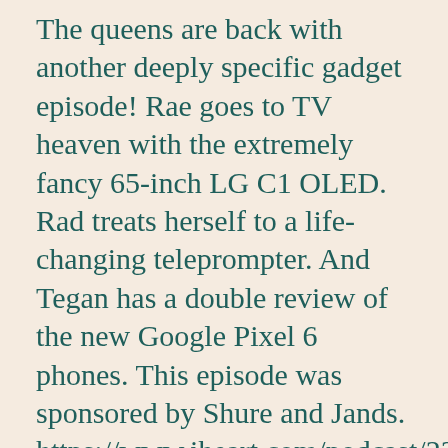The queens are back with another deeply specific gadget episode! Rae goes to TV heaven with the extremely fancy 65-inch LG C1 OLED. Rad treats herself to a life-changing teleprompter. And Tegan has a double review of the new Google Pixel 6 phones. This episode was sponsored by Shure and Jands. https://www.iheart.com/podcast/239-queens-of-the-drone-age-80153356 Show Notes Here's [...]